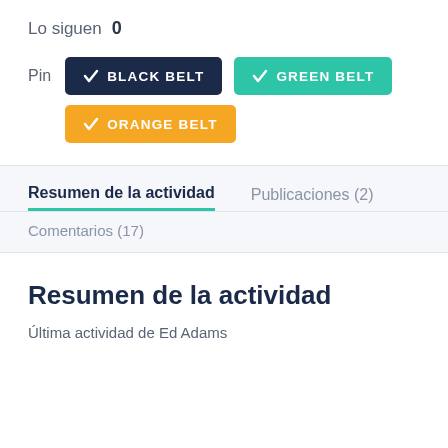Lo siguen  0
Pin  ✔ BLACK BELT  ✔ GREEN BELT  ✔ ORANGE BELT
Resumen de la actividad   Publicaciones (2)
Comentarios (17)
Resumen de la actividad
Última actividad de Ed Adams